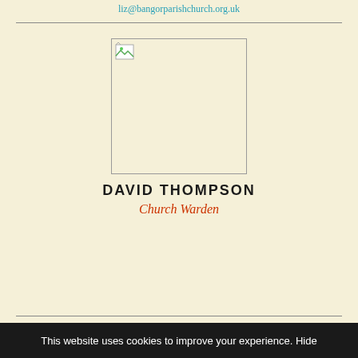liz@bangorparishchurch.org.uk
[Figure (photo): Broken/missing image placeholder for David Thompson's photo]
DAVID THOMPSON
Church Warden
This website uses cookies to improve your experience. Hide